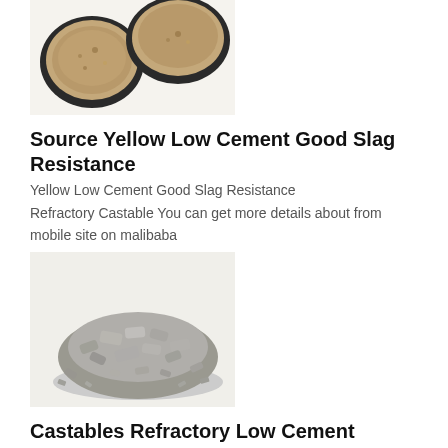[Figure (photo): Two round containers filled with yellowish-brown granular refractory castable material on a white background]
Source Yellow Low Cement Good Slag Resistance
Yellow Low Cement Good Slag Resistance
Refractory Castable You can get more details about from mobile site on malibaba
[Figure (photo): A pile of grey granular/chunky refractory castable material on a white background, shown in black and white]
Castables Refractory Low Cement Supplier Iron Ladle
Castables Refractory Low Cement Supplier Iron
Ladle Refractories Cement For Sale Find Complete